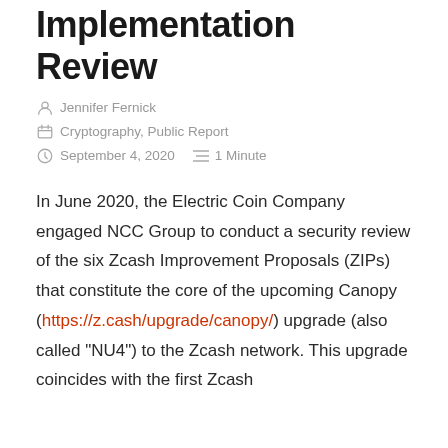Implementation Review
Jennifer Fernick
Cryptography, Public Report
September 4, 2020    1 Minute
In June 2020, the Electric Coin Company engaged NCC Group to conduct a security review of the six Zcash Improvement Proposals (ZIPs) that constitute the core of the upcoming Canopy (https://z.cash/upgrade/canopy/) upgrade (also called “NU4”) to the Zcash network. This upgrade coincides with the first Zcash